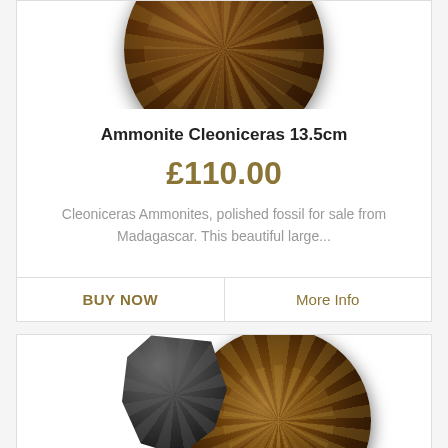[Figure (photo): Top portion of a polished Ammonite Cleoniceras fossil, dark brown with intricate suture patterns, shown cropped at top of page]
Ammonite Cleoniceras 13.5cm
£110.00
Cleoniceras Ammonites, polished fossil for sale from Madagascar. This beautiful large...
BUY NOW     More Info
[Figure (photo): A large polished Ammonite fossil (dark brown with white suture patterns) partially overlapped by a dark grey/black rough fossil fragment, shown in the second product card]